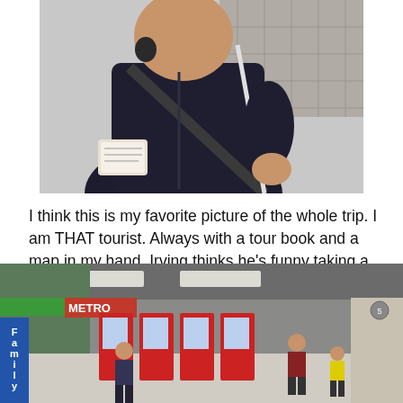[Figure (photo): Photo of a person wearing dark jacket with a bag strap across their chest, holding what appears to be a tour book or map, standing outdoors on paved surface]
I think this is my favorite picture of the whole trip. I am THAT tourist. Always with a tour book and a map in my hand. Irving thinks he's funny taking a picture of me looking like a tourist… but he's the one with the backpack and huge camera around his neck taking said picture. We make a great team.
[Figure (photo): Photo of a metro station interior with a FamilyMart convenience store sign in blue letters, ticket vending machines, and people walking through the concourse]